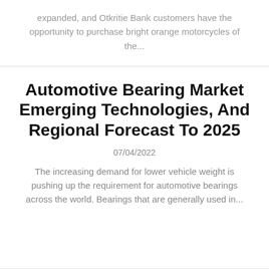expanded, and Otkritie Bank customers have the opportunity to purchase bright orange motorcycles of the...
Automotive Bearing Market Emerging Technologies, And Regional Forecast To 2025
07/04/2022
The increasing demand for lower vehicle weight is pushing up the requirement for automotive bearings across the world. Bearings that are generally used in...